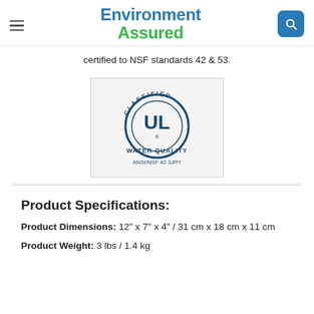Environment Assured
certified to NSF standards 42 & 53.
[Figure (logo): UL Classified Water Quality certification badge — circular UL logo with text CLASSIFIED at top, WATER QUALITY below, and ANSI/NSF 42 3JRY at bottom]
Product Specifications:
Product Dimensions: 12" x 7" x 4" / 31 cm x 18 cm x 11 cm
Product Weight: 3 lbs / 1.4 kg